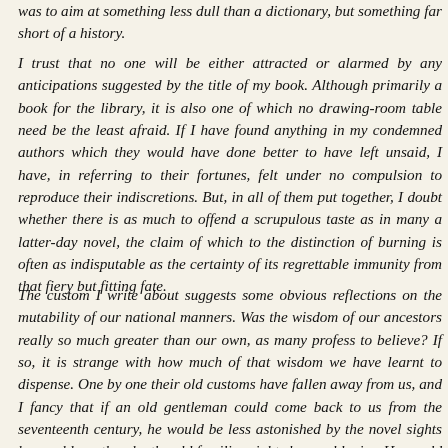was to aim at something less dull than a dictionary, but something far short of a history.
I trust that no one will be either attracted or alarmed by any anticipations suggested by the title of my book. Although primarily a book for the library, it is also one of which no drawing-room table need be the least afraid. If I have found anything in my condemned authors which they would have done better to have left unsaid, I have, in referring to their fortunes, felt under no compulsion to reproduce their indiscretions. But, in all of them put together, I doubt whether there is as much to offend a scrupulous taste as in many a latter-day novel, the claim of which to the distinction of burning is often as indisputable as the certainty of its regrettable immunity from that fiery but fitting fate.
The custom I write about suggests some obvious reflections on the mutability of our national manners. Was the wisdom of our ancestors really so much greater than our own, as many profess to believe? If so, it is strange with how much of that wisdom we have learnt to dispense. One by one their old customs have fallen away from us, and I fancy that if an old gentleman could come back to us from the seventeenth century, he would be less astonished by the novel sights he would see than by the old familiar sights he would miss. He would see n